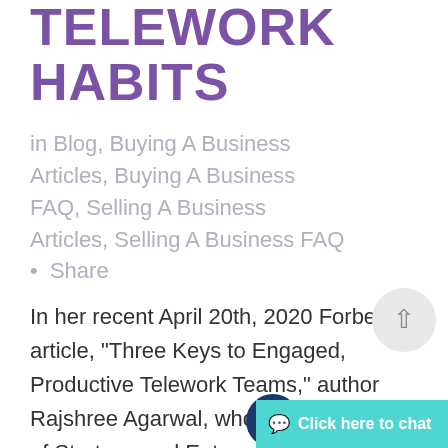TELEWORK HABITS
in Blog, Buying A Business Articles, Buying A Business FAQ, Selling A Business Articles, Selling A Business FAQ • Share
In her recent April 20th, 2020 Forbes article, “Three Keys to Engaged, Productive Telework Teams,” author Rajshree Agarwal, who is a professor of Strategy and Entrepreneurship, explored how to get the most out of telework.  This highly timely article covers some very important territory for...